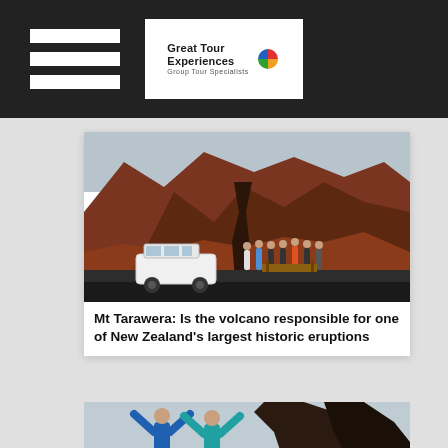Great Tour Experiences — Group Tour Specialists
[Figure (photo): Volcanic landscape at Mt Tarawera with a white 4WD vehicle and a group of tourists standing in front of red and brown volcanic rock formations and hills.]
Mt Tarawera: Is the volcano responsible for one of New Zealand's largest historic eruptions
[Figure (photo): Two people with arms raised standing in front of a dark volcanic rock formation at Mt Tarawera.]